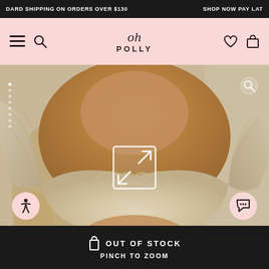DARD SHIPPING ON ORDERS OVER $130   SHOP NOW PAY LAT
[Figure (logo): Oh Polly brand logo with script 'oh' above bold uppercase 'POLLY' text, on pink background with hamburger menu, search, heart, and bag icons]
[Figure (photo): Close-up photo of a model wearing a beige/cream long-sleeve ruched crop top with sweetheart neckline, against a soft neutral background with dried flowers]
OUT OF STOCK
PINCH TO ZOOM